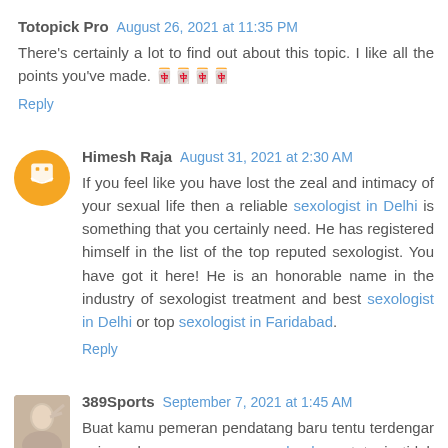Totopick Pro  August 26, 2021 at 11:35 PM
There's certainly a lot to find out about this topic. I like all the points you've made. 🀄🀄🀄🀄
Reply
Himesh Raja  August 31, 2021 at 2:30 AM
If you feel like you have lost the zeal and intimacy of your sexual life then a reliable sexologist in Delhi is something that you certainly need. He has registered himself in the list of the top reputed sexologist. You have got it here! He is an honorable name in the industry of sexologist treatment and best sexologist in Delhi or top sexologist in Faridabad.
Reply
389Sports  September 7, 2021 at 1:45 AM
Buat kamu pemeran pendatang baru tentu terdengar asing dengan game amcolourher, tetapi tidak dengan player